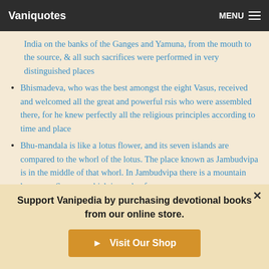Vaniquotes | MENU
India on the banks of the Ganges and Yamuna, from the mouth to the source, & all such sacrifices were performed in very distinguished places
Bhismadeva, who was the best amongst the eight Vasus, received and welcomed all the great and powerful rsis who were assembled there, for he knew perfectly all the religious principles according to time and place
Bhu-mandala is like a lotus flower, and its seven islands are compared to the whorl of the lotus. The place known as Jambudvipa is in the middle of that whorl. In Jambudvipa there is a mountain known as Sumeru, which is made of
Support Vanipedia by purchasing devotional books from our online store.
▶ Visit Our Shop